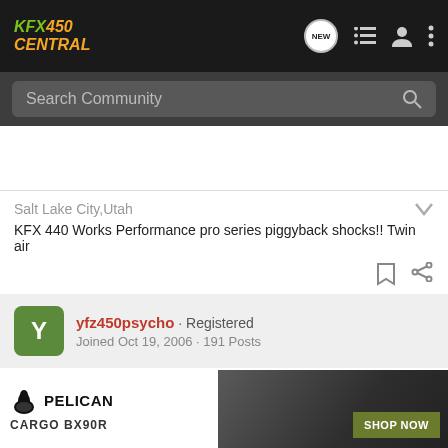KFX450 CENTRAL
Search Community
Salt Lake City,Utah
KFX 440 Works Performance pro series piggyback shocks!! Twin air
yfz450psycho · Registered
Joined Oct 19, 2006 · 191 Posts
#4 · Jan 17, 2007
THE CL
[Figure (screenshot): Pelican CARGO BX90R advertisement banner with SHOP NOW button]